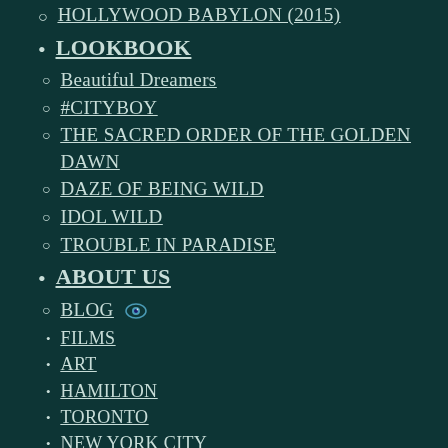HOLLYWOOD BABYLON (2015)
LOOKBOOK
Beautiful Dreamers
#CITYBOY
THE SACRED ORDER OF THE GOLDEN DAWN
DAZE OF BEING WILD
IDOL WILD
TROUBLE IN PARADISE
ABOUT US
BLOG 👁
FILMS
ART
HAMILTON
TORONTO
NEW YORK CITY
PARIS